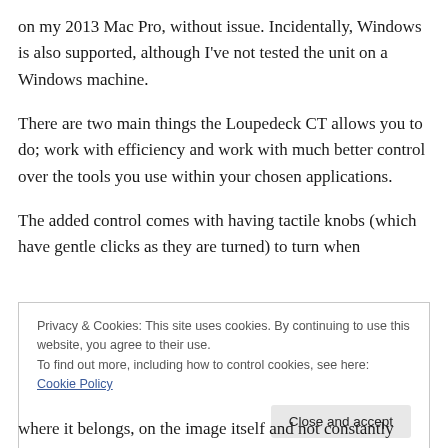on my 2013 Mac Pro, without issue. Incidentally, Windows is also supported, although I've not tested the unit on a Windows machine.
There are two main things the Loupedeck CT allows you to do; work with efficiency and work with much better control over the tools you use within your chosen applications.
The added control comes with having tactile knobs (which have gentle clicks as they are turned) to turn when
Privacy & Cookies: This site uses cookies. By continuing to use this website, you agree to their use.
To find out more, including how to control cookies, see here: Cookie Policy
where it belongs, on the image itself and not constantly